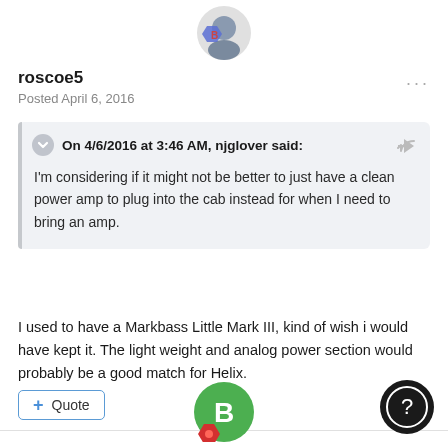[Figure (photo): User avatar image at top center]
roscoe5
Posted April 6, 2016
On 4/6/2016 at 3:46 AM, njglover said:
I'm considering if it might not be better to just have a clean power amp to plug into the cab instead for when I need to bring an amp.
I used to have a Markbass Little Mark III, kind of wish i would have kept it. The light weight and analog power section would probably be a good match for Helix.
+ Quote
[Figure (illustration): Green circle avatar with letter B and red badge at bottom center]
[Figure (illustration): Dark circular help/question button at bottom right]